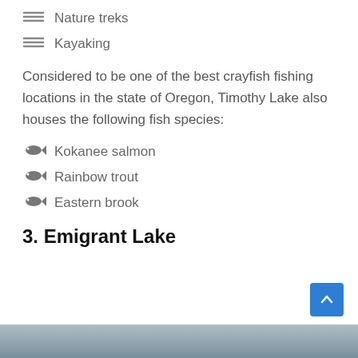Nature treks
Kayaking
Considered to be one of the best crayfish fishing locations in the state of Oregon, Timothy Lake also houses the following fish species:
Kokanee salmon
Rainbow trout
Eastern brook
3. Emigrant Lake
[Figure (photo): Partial view of a lake or water scene at the bottom of the page]